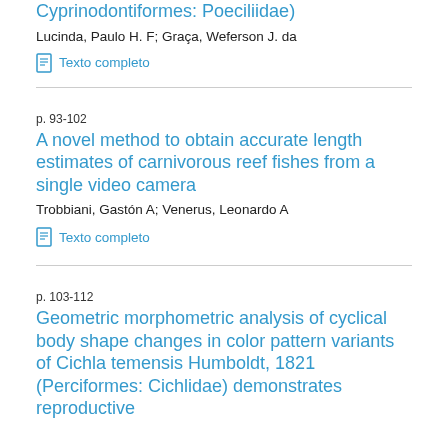Cyprinodontiformes: Poeciliidae)
Lucinda, Paulo H. F; Graça, Weferson J. da
Texto completo
p. 93-102
A novel method to obtain accurate length estimates of carnivorous reef fishes from a single video camera
Trobbiani, Gastón A; Venerus, Leonardo A
Texto completo
p. 103-112
Geometric morphometric analysis of cyclical body shape changes in color pattern variants of Cichla temensis Humboldt, 1821 (Perciformes: Cichlidae) demonstrates reproductive